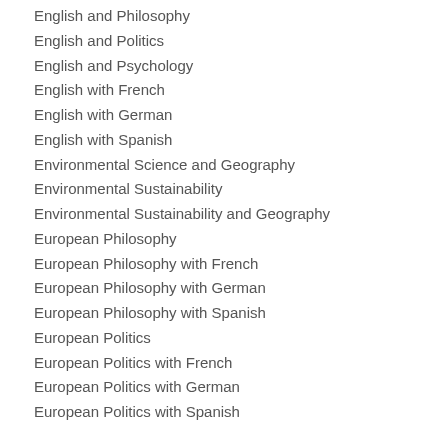English and Philosophy
English and Politics
English and Psychology
English with French
English with German
English with Spanish
Environmental Science and Geography
Environmental Sustainability
Environmental Sustainability and Geography
European Philosophy
European Philosophy with French
European Philosophy with German
European Philosophy with Spanish
European Politics
European Politics with French
European Politics with German
European Politics with Spanish